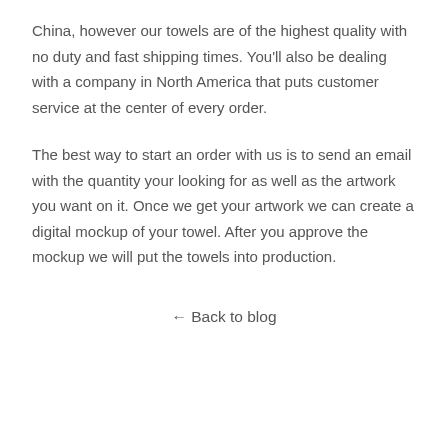China, however our towels are of the highest quality with no duty and fast shipping times. You'll also be dealing with a company in North America that puts customer service at the center of every order.
The best way to start an order with us is to send an email with the quantity your looking for as well as the artwork you want on it. Once we get your artwork we can create a digital mockup of your towel. After you approve the mockup we will put the towels into production.
← Back to blog